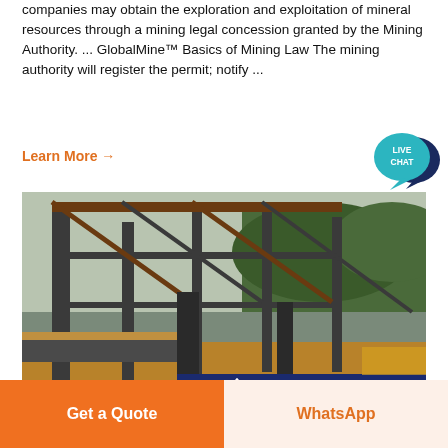companies may obtain the exploration and exploitation of mineral resources through a mining legal concession granted by the Mining Authority. ... GlobalMine™ Basics of Mining Law The mining authority will register the permit; notify ...
Learn More →
[Figure (other): Live Chat bubble icon in teal/dark blue]
[Figure (photo): Mining facility with steel frame structure and conveyor belts; ACRUSHER logo visible on blue signboard at bottom]
Get a Quote
WhatsApp